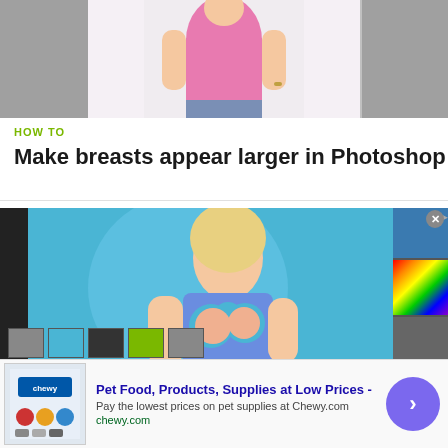[Figure (photo): Top portion of a woman in a pink tank top with gray background on the sides, white center background — partial view from waist to shoulders]
HOW TO
Make breasts appear larger in Photoshop
[Figure (screenshot): Screenshot of Adobe Photoshop showing a woman in a blue cut-out swimsuit against a teal background, with Photoshop panels visible on the right side]
[Figure (photo): Advertisement: Pet Food, Products, Supplies at Low Prices - Chewy.com ad with product images, logo, and a purple circular call-to-action button]